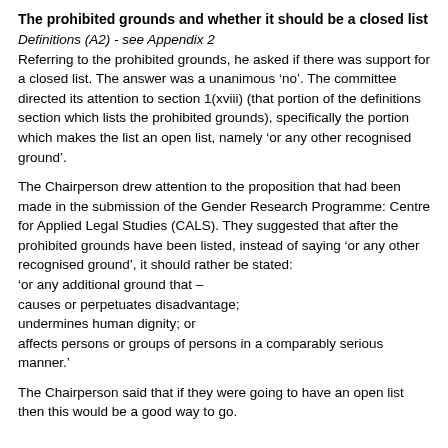The prohibited grounds and whether it should be a closed list
Definitions (A2) - see Appendix 2
Referring to the prohibited grounds, he asked if there was support for a closed list. The answer was a unanimous ‘no’. The committee directed its attention to section 1(xviii) (that portion of the definitions section which lists the prohibited grounds), specifically the portion which makes the list an open list, namely ‘or any other recognised ground’.
The Chairperson drew attention to the proposition that had been made in the submission of the Gender Research Programme: Centre for Applied Legal Studies (CALS). They suggested that after the prohibited grounds have been listed, instead of saying ‘or any other recognised ground’, it should rather be stated:
‘or any additional ground that –
causes or perpetuates disadvantage;
undermines human dignity; or
affects persons or groups of persons in a comparably serious manner.’
The Chairperson said that if they were going to have an open list then this would be a good way to go.